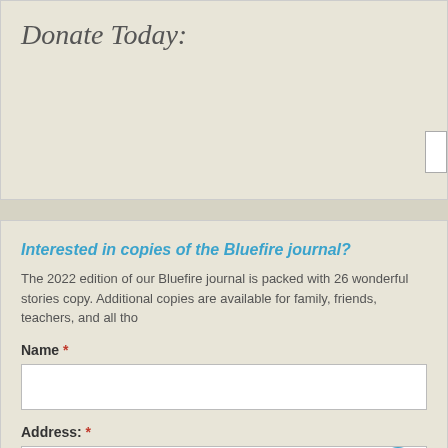Donate Today:
Interested in copies of the Bluefire journal?
The 2022 edition of our Bluefire journal is packed with 26 wonderful stories copy. Additional copies are available for family, friends, teachers, and all tho
Name *
Address: *
Number of Copies Ordered *